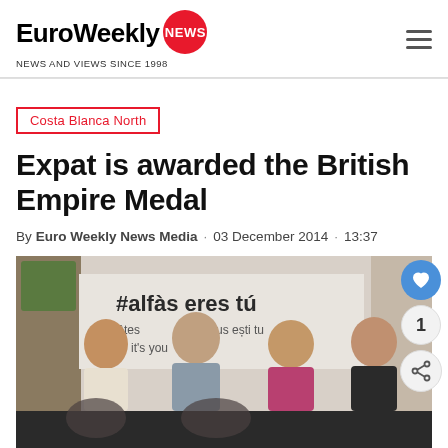EuroWeekly NEWS — NEWS AND VIEWS SINCE 1998
Costa Blanca North
Expat is awarded the British Empire Medal
By Euro Weekly News Media · 03 December 2014 · 13:37
[Figure (photo): Group of four people standing in front of a banner reading #alfàs eres tú with multilingual text. Three women and one man posing together indoors.]